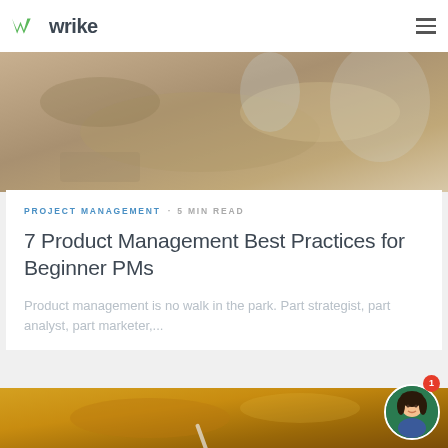wrike
[Figure (photo): Close-up photo of hands on a desk, blurred background with books and a water bottle]
PROJECT MANAGEMENT · 5 MIN READ
7 Product Management Best Practices for Beginner PMs
Product management is no walk in the park. Part strategist, part analyst, part marketer,...
[Figure (photo): Person in yellow/orange sweater writing or working, blurred warm-toned background]